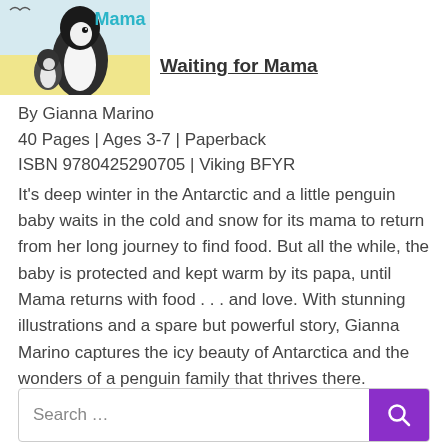[Figure (illustration): Book cover of 'Waiting for Mama' showing penguin illustration with teal/blue title text and a baby penguin]
Waiting for Mama
By Gianna Marino
40 Pages | Ages 3-7 | Paperback
ISBN 9780425290705 | Viking BFYR
It's deep winter in the Antarctic and a little penguin baby waits in the cold and snow for its mama to return from her long journey to find food. But all the while, the baby is protected and kept warm by its papa, until Mama returns with food . . . and love. With stunning illustrations and a spare but powerful story, Gianna Marino captures the icy beauty of Antarctica and the wonders of a penguin family that thrives there.